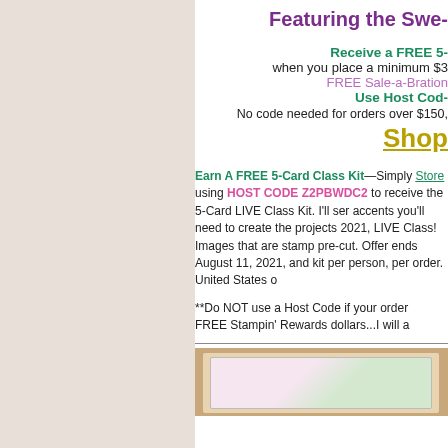Featuring the Swe-
Receive a FREE 5-C
when you place a minimum $3
FREE Sale-a-Bration
Use Host Cod-
No code needed for orders over $150,
Shop
Earn A FREE 5-Card Class Kit—Simply  Store using HOST CODE Z2PBWDC2 to receive the 5-Card LIVE Class Kit. I'll ser accents you'll need to create the projects 2021, LIVE Class! Images that are stamp pre-cut. Offer ends August 11, 2021, and kit per person, per order. United States o
**Do NOT use a Host Code if your order FREE Stampin' Rewards dollars...I will a
[Figure (photo): Photo of stamped cards on a wooden surface with floral designs]